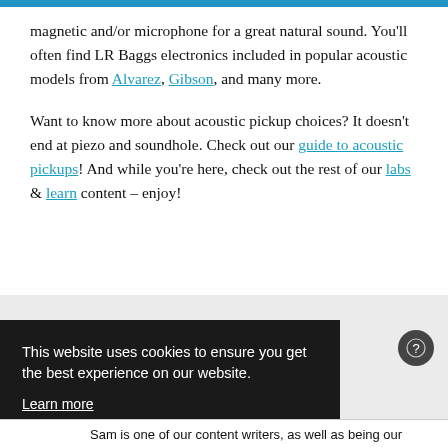magnetic and/or microphone for a great natural sound. You'll often find LR Baggs electronics included in popular acoustic models from Alvarez, Gibson, and many more.
Want to know more about acoustic pickup choices? It doesn't end at piezo and soundhole. Check out our guide to acoustic pickups! And while you're here, check out the rest of our labs & learn content – enjoy!
This website uses cookies to ensure you get the best experience on our website.
Learn more
Got it
Sam is one of our content writers, as well as being our